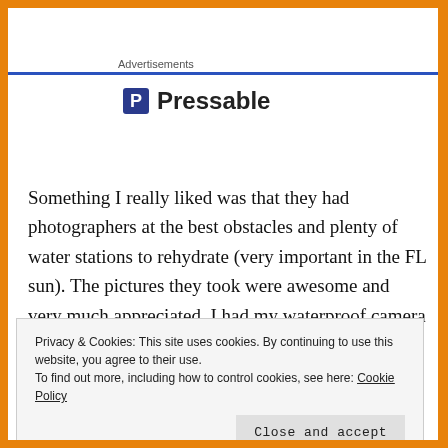Advertisements
[Figure (logo): Pressable logo with blue 'P' icon and bold 'Pressable' text]
Something I really liked was that they had photographers at the best obstacles and plenty of water stations to rehydrate (very important in the FL sun). The pictures they took were awesome and very much appreciated. I had my waterproof camera with me, but the pics aren't quite as good as what they took.
Privacy & Cookies: This site uses cookies. By continuing to use this website, you agree to their use. To find out more, including how to control cookies, see here: Cookie Policy
have a group of gal pals you want to spend some time with